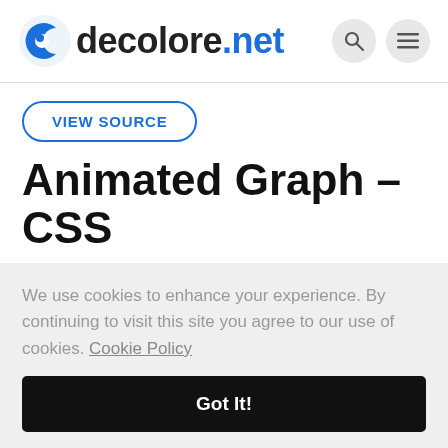decolore.net
VIEW SOURCE
Animated Graph – CSS
Animated with CSS
We use cookies to enhance your experience. By continuing to visit this site you agree to our use of cookies. Cookie Policy
Got It!